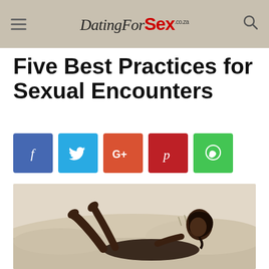DatingForSex.co.za
Five Best Practices for Sexual Encounters
[Figure (other): Social media share buttons: Facebook (blue), Twitter (light blue), Google+ (orange-red), Pinterest (dark red), WhatsApp (green)]
[Figure (photo): A woman posing on a sandy beach, lying down with legs raised, looking at the camera. Sandy dunes and sparse grass in the background.]